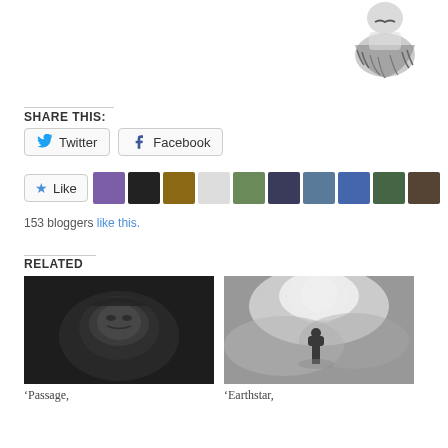[Figure (photo): Sketch/illustration of a person with a beard and mustache, upper torso, black and white]
SHARE THIS:
Twitter  Facebook
[Figure (infographic): Like button with blue star and row of 10 blogger avatar thumbnails]
153 bloggers like this.
RELATED
[Figure (photo): Black and white image of a face looking upward, dramatic lighting, titled 'Passage,']
‘Passage,
[Figure (photo): Black and white image of a lone figure standing in mist/fog with bright light, titled 'Earthstar,']
‘Earthstar,